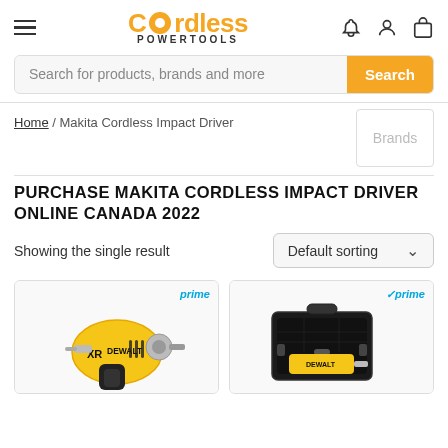Cordless POWERTOOLS
Search for products, brands and more
Home / Makita Cordless Impact Driver
PURCHASE MAKITA CORDLESS IMPACT DRIVER ONLINE CANADA 2022
Showing the single result
[Figure (photo): DeWalt XR cordless impact wrench/driver, yellow and black, with Amazon Prime badge]
[Figure (photo): DeWalt cordless impact driver kit with carry case, yellow and black, with Amazon Prime checkmark badge]